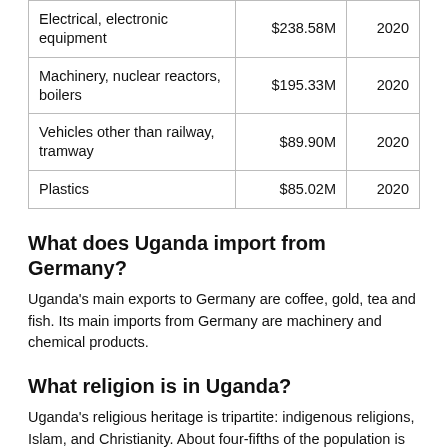| Electrical, electronic equipment | $238.58M | 2020 |
| Machinery, nuclear reactors, boilers | $195.33M | 2020 |
| Vehicles other than railway, tramway | $89.90M | 2020 |
| Plastics | $85.02M | 2020 |
What does Uganda import from Germany?
Uganda's main exports to Germany are coffee, gold, tea and fish. Its main imports from Germany are machinery and chemical products.
What religion is in Uganda?
Uganda's religious heritage is tripartite: indigenous religions, Islam, and Christianity. About four-fifths of the population is Christian, primarily divided between Roman Catholics and Protestants (mostly Anglicans but also including Pentecostals, Seventh-day Adventists, Baptists, and Presbyterians).